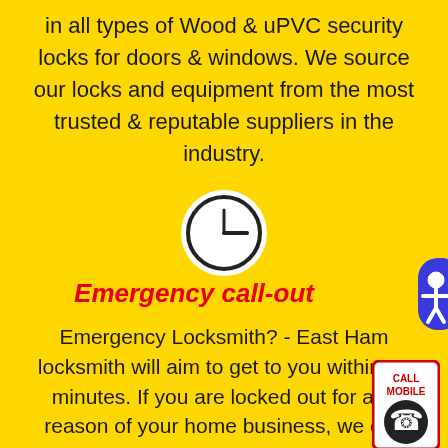in all types of Wood & uPVC security locks for doors & windows. We source our locks and equipment from the most trusted & reputable suppliers in the industry.
[Figure (illustration): White circle clock icon with clock hands showing roughly 3 o'clock position on a yellow background]
[Figure (illustration): Blue circular accessibility icon button partially visible at the right edge]
Emergency call-out
Emergency Locksmith? – East Ham locksmith will aim to get to you within 30 minutes. If you are locked out for any reason of your home business, we can get you back in and if the faulty, we can change it at the same time
[Figure (illustration): Call Mobile button icon with phone/finger graphic]